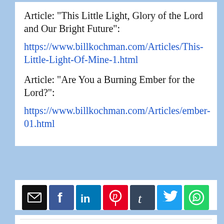Article: "This Little Light, Glory of the Lord and Our Bright Future":
https://www.billkochman.com/Articles/This-Little-Light-Of-Mine-1.html
Article: "Are You a Burning Ember for the Lord?":
https://www.billkochman.com/Articles/ember-01.html
[Figure (infographic): Row of 7 social sharing icons: email (black), Facebook (blue), LinkedIn (teal), Pinterest (red), Tumblr (dark blue-grey), Twitter (light blue), WhatsApp (green)]
Click or Tap Icons to Share! Thank you!